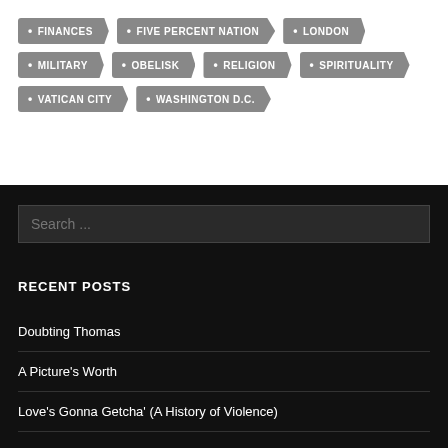FINANCES
FIVE PERCENT NATION
LONDON
MILITARY
OBELISK
RELIGION
SPIRITUALITY
VATICAN CITY
WASHINGTON D.C.
Search ...
RECENT POSTS
Doubting Thomas
A Picture's Worth
Love's Gonna Getcha' (A History of Violence)